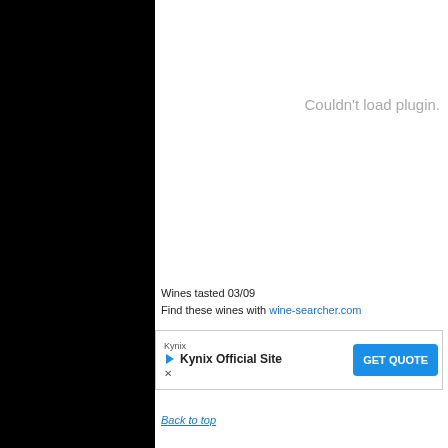[Figure (other): Black panel occupying left portion of the page]
Couldn't load plugin.
Wines tasted 03/09
Find these wines with wine-searcher.com
[Figure (other): Advertisement banner: Kynix Official Site with GET QUOTE button]
Back to top